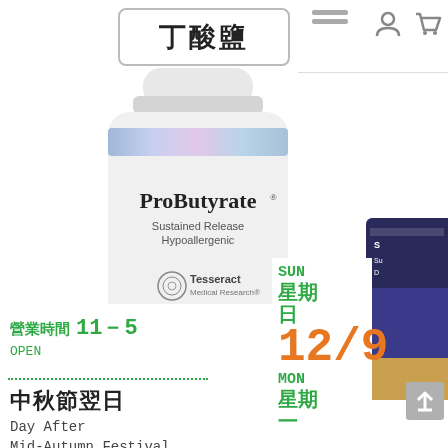丁酸鹽
[Figure (photo): White supplement bottle labeled ProButyrate Sustained Release Hypoallergenic by Tesseract Medical Research, Dietary Supplement 120 Vegetarian Capsules]
營業時間 11－5
OPEN
中秋節翌日
Day After
Mid-Autumn Festival
營業時間 11－5
OPEN
SUN
星期
日
12/9
MON
星期
一